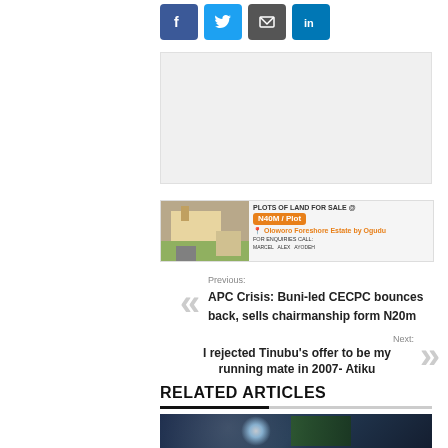[Figure (other): Social media share icons: Facebook (blue), Twitter (blue), Email (grey), LinkedIn (blue)]
[Figure (other): Advertisement placeholder grey box]
[Figure (other): Plots of Land for Sale advertisement banner: N40M / Plot, Oloworo Foreshore Estate by Ogudu]
Previous:
APC Crisis: Buni-led CECPC bounces back, sells chairmanship form N20m
Next:
I rejected Tinubu's offer to be my running mate in 2007- Atiku
RELATED ARTICLES
[Figure (photo): Dark nighttime photo showing a bright light source on the left and colorful figures on the right]